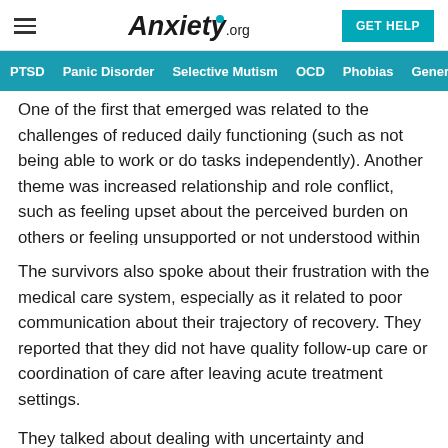Anxiety.org — GET HELP
PTSD | Panic Disorder | Selective Mutism | OCD | Phobias | Generalize
One of the first that emerged was related to the challenges of reduced daily functioning (such as not being able to work or do tasks independently). Another theme was increased relationship and role conflict, such as feeling upset about the perceived burden on others or feeling unsupported or not understood within their social network.
The survivors also spoke about their frustration with the medical care system, especially as it related to poor communication about their trajectory of recovery. They reported that they did not have quality follow-up care or coordination of care after leaving acute treatment settings.
They talked about dealing with uncertainty and hopelessness related to their recovery process. Many were